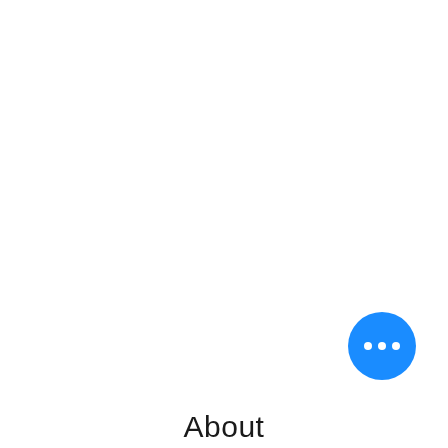[Figure (illustration): A circular blue button with three white horizontal dots (ellipsis/more options icon) in the lower-right area of the page.]
About